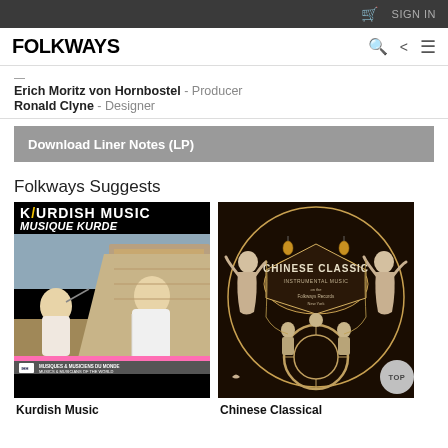FOLKWAYS  SIGN IN
Erich Moritz von Hornbostel - Producer
Ronald Clyne - Designer
Download Liner Notes (LP)
Folkways Suggests
[Figure (photo): Album cover: Kurdish Music / Musique Kurde. Black background with bold white and yellow text. Photo of two men sitting outdoors near a stone wall, one playing a wind instrument. Bottom band text: Musiques & Musiciens du Monde / Musics & Musicians of the World. UNESCO logo bottom left, pink stripe.]
[Figure (photo): Album cover: Chinese Classic. Dark brown/black background with illustrated decorative art showing Chinese classical musicians and dancers in a circular/ornamental frame. Text: CHINESE CLASSIC INSTRUMENTAL MUSIC.]
Kurdish Music
Chinese Classical